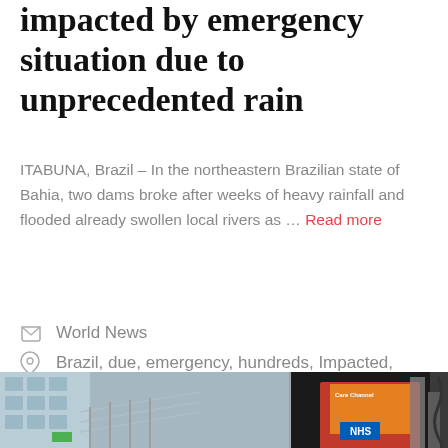impacted by emergency situation due to unprecedented rain
ITABUNA, Brazil – In the northeastern Brazilian state of Bahia, two dams broke after weeks of heavy rainfall and flooded already swollen local rivers as … Read more
World News
Brazil, due, emergency, hundreds, Impacted, Rain, situation, Thousands, unprecedented
[Figure (photo): Partial photograph showing buildings, a screen displaying NHS branding, and urban street elements]